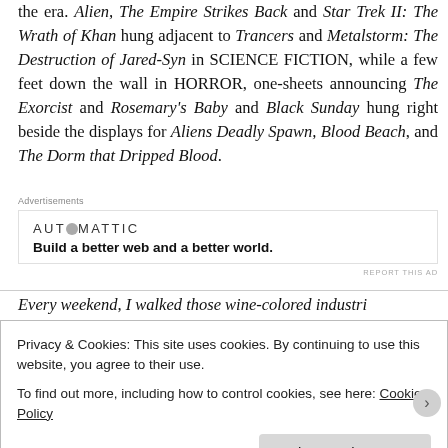the era. Alien, The Empire Strikes Back and Star Trek II: The Wrath of Khan hung adjacent to Trancers and Metalstorm: The Destruction of Jared-Syn in SCIENCE FICTION, while a few feet down the wall in HORROR, one-sheets announcing The Exorcist and Rosemary's Baby and Black Sunday hung right beside the displays for Aliens Deadly Spawn, Blood Beach, and The Dorm that Dripped Blood.
[Figure (other): Advertisement block: AUTOMATTIC logo with tagline 'Build a better web and a better world.']
Every weekend, I walked those wine-colored industri...
Privacy & Cookies: This site uses cookies. By continuing to use this website, you agree to their use. To find out more, including how to control cookies, see here: Cookie Policy